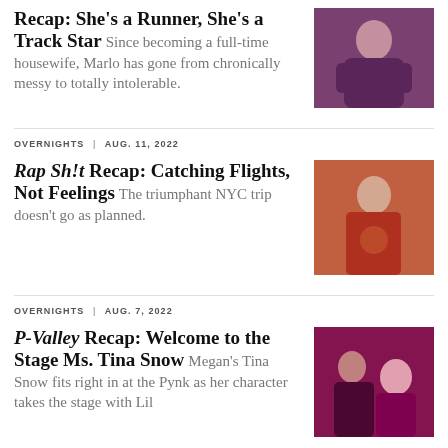Recap: She's a Runner, She's a Track Star Since becoming a full-time housewife, Marlo has gone from chronically messy to totally intolerable.
[Figure (photo): Woman in purple dress seated on a grey chair, gesturing with hands]
OVERNIGHTS | AUG. 11, 2022
Rap Sh!t Recap: Catching Flights, Not Feelings The triumphant NYC trip doesn't go as planned.
[Figure (photo): Woman with hair up, holding a drink, at a social setting]
OVERNIGHTS | AUG. 7, 2022
P-Valley Recap: Welcome to the Stage Ms. Tina Snow Megan's Tina Snow fits right in at the Pynk as her character takes the stage with Lil
[Figure (photo): Man and woman on stage under pink/purple lighting]